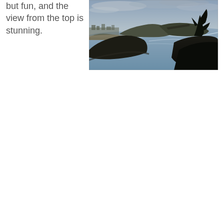but fun, and the view from the top is stunning.
[Figure (photo): Aerial coastal view showing a bay, beach, town, cliffs, and calm reflective sea under overcast sky, with dark hillside vegetation in foreground right.]